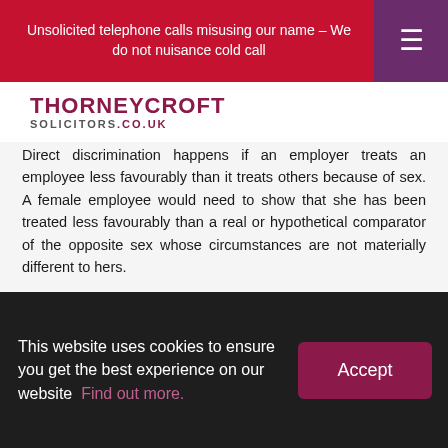Unsolicited telephone calls misusing our name – We do not nuisance cold call
[Figure (logo): Thorneycroft Solicitors logo with text THORNEYCROFT SOLICITORS.CO.UK]
Direct discrimination happens if an employer treats an employee less favourably than it treats others because of sex. A female employee would need to show that she has been treated less favourably than a real or hypothetical comparator of the opposite sex whose circumstances are not materially different to hers.
Read more ›
This website uses cookies to ensure you get the best experience on our website  Find out more.